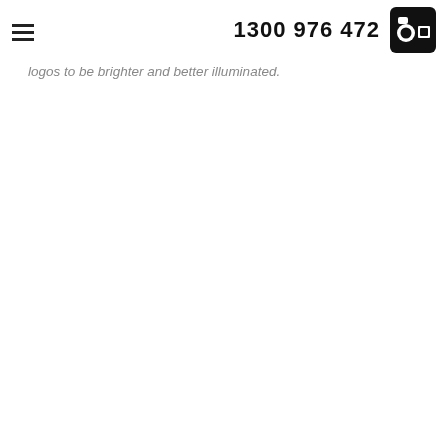1300 976 472
logos to be brighter and better illuminated.